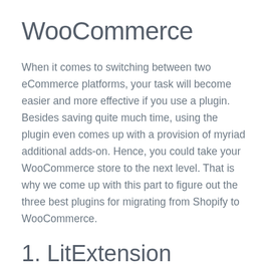WooCommerce
When it comes to switching between two eCommerce platforms, your task will become easier and more effective if you use a plugin. Besides saving quite much time, using the plugin even comes up with a provision of myriad additional adds-on. Hence, you could take your WooCommerce store to the next level. That is why we come up with this part to figure out the three best plugins for migrating from Shopify to WooCommerce.
1. LitExtension
LitExtension is a world-known migration tool, and it also gains ever-increasing users thanks to its effectiveness for any migration process. The use of